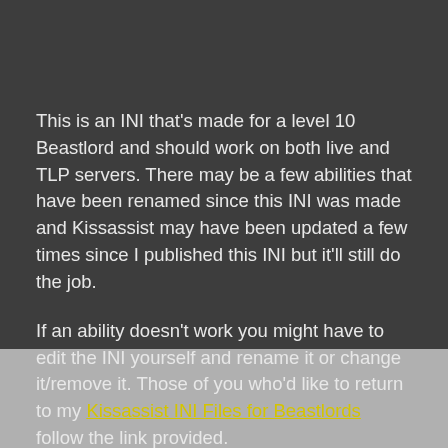This is an INI that's made for a level 10 Beastlord and should work on both live and TLP servers. There may be a few abilities that have been renamed since this INI was made and Kissassist may have been updated a few times since I published this INI but it'll still do the job.
If an ability doesn't work you might have to edit the INI yourself and rename it or change it/remove it. Those of you who'd like to return to my Kissassist INI Files for Beastlords follow the link provided.
Want to learn more about Everquest? Each guide below is geared towards players who want to learn more and become better players. They have tons of important need to know information that will teach you things like what gear to get and why, what stats are the best for your class...